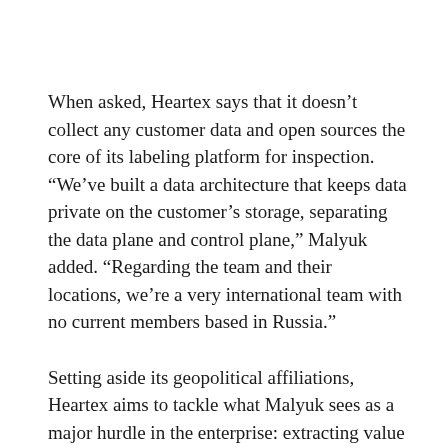When asked, Heartex says that it doesn’t collect any customer data and open sources the core of its labeling platform for inspection. “We’ve built a data architecture that keeps data private on the customer’s storage, separating the data plane and control plane,” Malyuk added. “Regarding the team and their locations, we’re a very international team with no current members based in Russia.”
Setting aside its geopolitical affiliations, Heartex aims to tackle what Malyuk sees as a major hurdle in the enterprise: extracting value from data by leveraging AI. There’s a growing wave of businesses aiming to become ‘data-centric’ — Gartner recently reported that